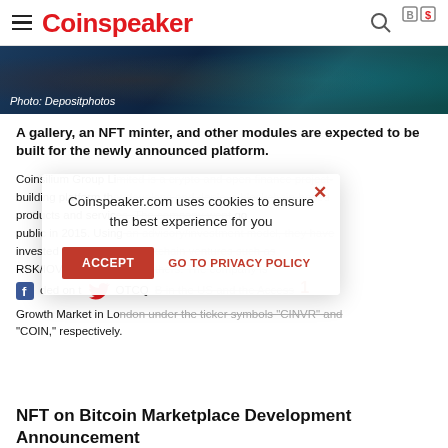Coinspeaker
[Figure (photo): Dark tech/blockchain background image with hexagonal patterns. Caption: Photo: Depositphotos]
Photo: Depositphotos
A gallery, an NFT minter, and other modules are expected to be built for the newly announced platform.
Coinsilium Group Limited is a crypto and open finance project building platform that develops and deploys blockchain-based products and services. The company went public in 2015. Using an advisory/investment model, they have invested in successful blockchain ventures such as RSK/IOV Labs, Blox, and others. The company is traded on the OTCQB in the US and the Access Growth Market in London under the ticker symbols "CINVR" and "COIN," respectively.
NFT on Bitcoin Marketplace Development Announcement